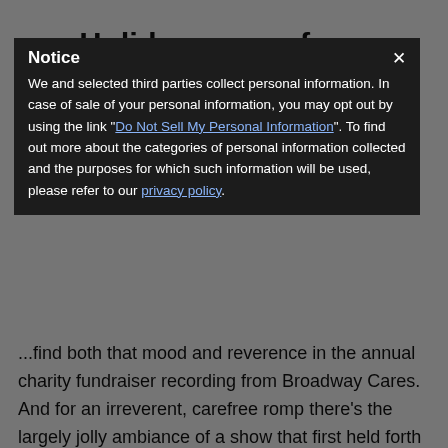Holiday songs from Broadway and Off-Broadway and
Beloved by Foster
...find both that mood and reverence in the annual charity fundraiser recording from Broadway Cares. And for an irreverent, carefree romp there's the largely jolly ambiance of a show that first held forth on the Great White Way way back when.
BROADWAY'S CAROLS FOR A CURE, VOLUME 21
Rock-It Science Records
[Figure (illustration): Album cover for Broadway's Carols for a Cure, Volume 21 — teal/blue background with stylized Carols for a Cure text and holiday imagery]
The annual burst of talent and creative reflections on the holiday season, through a theatre lens, is here, its sales benefiting the charity work of the Broadway Cares/Equity Fights AIDS. As usual, here are the casts of the musicals big and small, new and long-running, never running out of appealing ideas. While the series' selections have always
Notice
We and selected third parties collect personal information. In case of sale of your personal information, you may opt out by using the link "Do Not Sell My Personal Information". To find out more about the categories of personal information collected and the purposes for which such information will be used, please refer to our privacy policy.